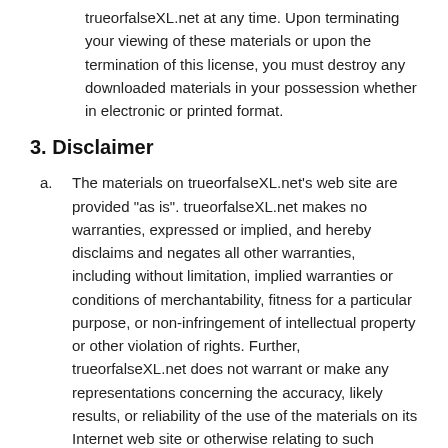trueorfalseXL.net at any time. Upon terminating your viewing of these materials or upon the termination of this license, you must destroy any downloaded materials in your possession whether in electronic or printed format.
3. Disclaimer
a. The materials on trueorfalseXL.net's web site are provided "as is". trueorfalseXL.net makes no warranties, expressed or implied, and hereby disclaims and negates all other warranties, including without limitation, implied warranties or conditions of merchantability, fitness for a particular purpose, or non-infringement of intellectual property or other violation of rights. Further, trueorfalseXL.net does not warrant or make any representations concerning the accuracy, likely results, or reliability of the use of the materials on its Internet web site or otherwise relating to such materials or on any sites linked to this site.
4. Limitations
In no event shall trueorfalseXL.net or its suppliers be liable for any damages (including, without limitation, damages for loss of data or profit, or due to business interruption,) arising out of the use or